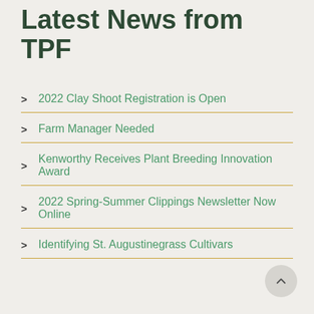Latest News from TPF
2022 Clay Shoot Registration is Open
Farm Manager Needed
Kenworthy Receives Plant Breeding Innovation Award
2022 Spring-Summer Clippings Newsletter Now Online
Identifying St. Augustinegrass Cultivars